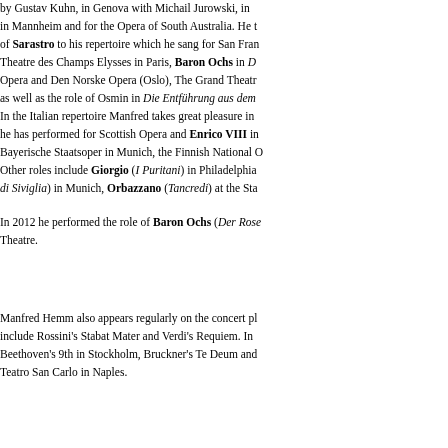by Gustav Kuhn, in Genova with Michail Jurowski, in Mannheim and for the Opera of South Australia. He t of Sarastro to his repertoire which he sang for San Fra Theatre des Champs Elysses in Paris, Baron Ochs in D Opera and Den Norske Opera (Oslo), The Grand Theatr as well as the role of Osmin in Die Entführung aus dem In the Italian repertoire Manfred takes great pleasure in he has performed for Scottish Opera and Enrico VIII in Bayerische Staatsoper in Munich, the Finnish National O Other roles include Giorgio (I Puritani) in Philadelphia di Siviglia) in Munich, Orbazzano (Tancredi) at the St
In 2012 he performed the role of Baron Ochs (Der Rose Theatre.
Manfred Hemm also appears regularly on the concert pl include Rossini's Stabat Mater and Verdi's Requiem. In Beethoven's 9th in Stockholm, Bruckner's Te Deum and Teatro San Carlo in Naples.